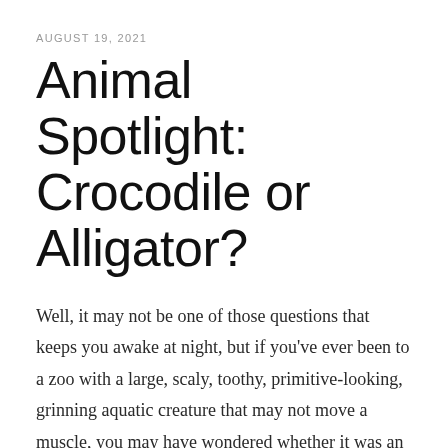AUGUST 19, 2021
Animal Spotlight: Crocodile or Alligator?
Well, it may not be one of those questions that keeps you awake at night, but if you've ever been to a zoo with a large, scaly, toothy, primitive-looking,  grinning aquatic creature that may not move a muscle, you may have wondered whether it was an alligator or a